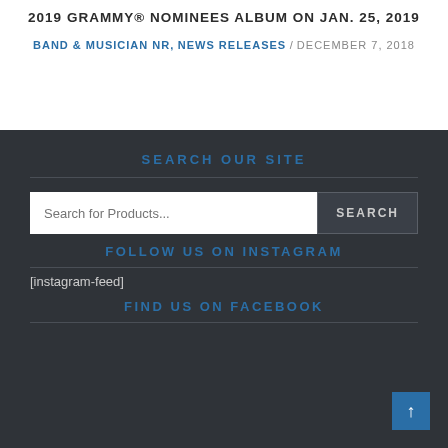2019 GRAMMY® NOMINEES ALBUM ON JAN. 25, 2019
BAND & MUSICIAN NR, NEWS RELEASES / DECEMBER 7, 2018
SEARCH OUR SITE
Search for Products...  SEARCH
FOLLOW US ON INSTAGRAM
[instagram-feed]
FIND US ON FACEBOOK